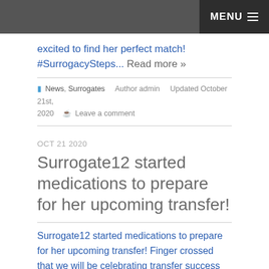MENU
excited to find her perfect match! #SurrogacySteps... Read more »
News, Surrogates   Author admin   Updated October 21st, 2020   Leave a comment
OCT 21 2020
Surrogate12 started medications to prepare for her upcoming transfer!
Surrogate12 started medications to prepare for her upcoming transfer! Finger crossed that we will be celebrating transfer success soon!  ...
Read more »